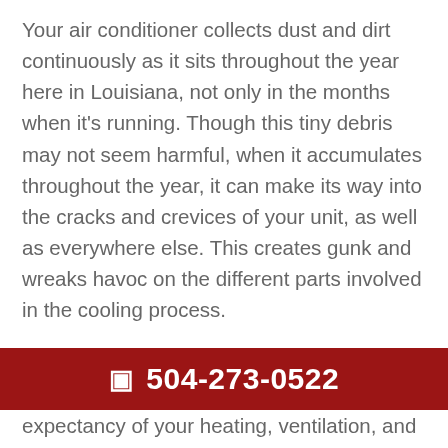Your air conditioner collects dust and dirt continuously as it sits throughout the year here in Louisiana, not only in the months when it's running. Though this tiny debris may not seem harmful, when it accumulates throughout the year, it can make its way into the cracks and crevices of your unit, as well as everywhere else. This creates gunk and wreaks havoc on the different parts involved in the cooling process.
When this happens, parts break down much sooner than expected and can add up to
504-273-0522
expectancy of your heating, ventilation, and